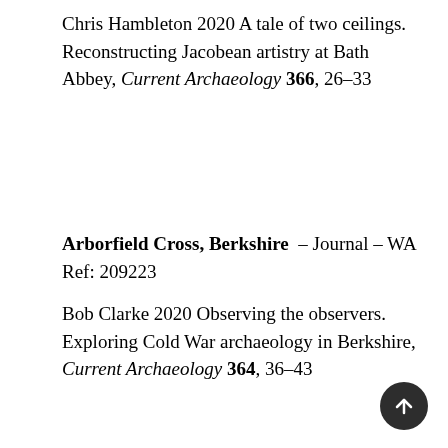Chris Hambleton 2020 A tale of two ceilings. Reconstructing Jacobean artistry at Bath Abbey, Current Archaeology 366, 26–33
Arborfield Cross, Berkshire – Journal – WA Ref: 209223
Bob Clarke 2020 Observing the observers. Exploring Cold War archaeology in Berkshire, Current Archaeology 364, 36–43